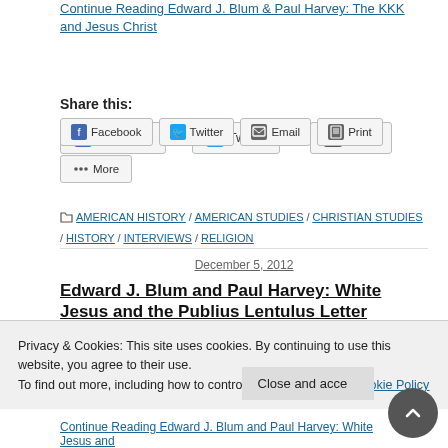Continue Reading Edward J. Blum & Paul Harvey: The KKK and Jesus Christ
Share this:
Facebook
Twitter
Email
Print
More
AMERICAN HISTORY / AMERICAN STUDIES / CHRISTIAN STUDIES / HISTORY / INTERVIEWS / RELIGION
December 5, 2012
Edward J. Blum and Paul Harvey: White Jesus and the Publius Lentulus Letter
Privacy & Cookies: This site uses cookies. By continuing to use this website, you agree to their use. To find out more, including how to control cookies, see here: Cookie Policy
Close and accept
Continue Reading Edward J. Blum and Paul Harvey: White Jesus and